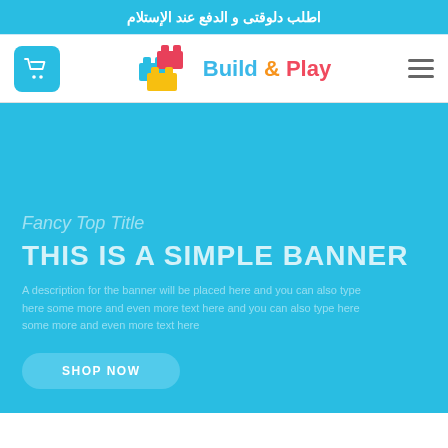اطلب دلوقتى و الدفع عند الإستلام
[Figure (logo): Build & Play logo with colorful LEGO bricks and cart icon navigation header]
[Figure (infographic): Cyan/light blue hero banner with semi-transparent text: 'Fancy Top Title', 'THIS IS A SIMPLE BANNER', descriptive text, and a 'SHOP NOW' rounded button]
Fancy Top Title
THIS IS A SIMPLE BANNER
A description for the banner will be placed here and you can also type here some more and even more text here
SHOP NOW